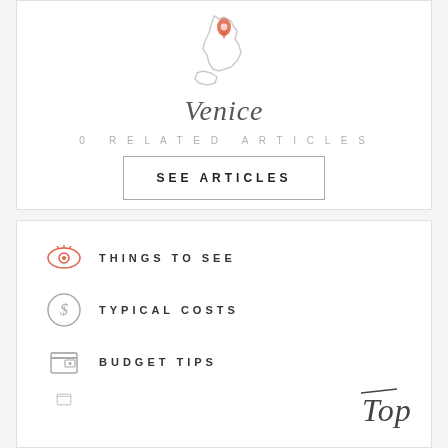[Figure (map): Outline map of Italy/Sicily with a red location pin marker indicating Venice]
Venice
0 RELATED ARTICLES
SEE ARTICLES
THINGS TO SEE
TYPICAL COSTS
BUDGET TIPS
[Figure (illustration): Hand-written cursive script reading 'Top']